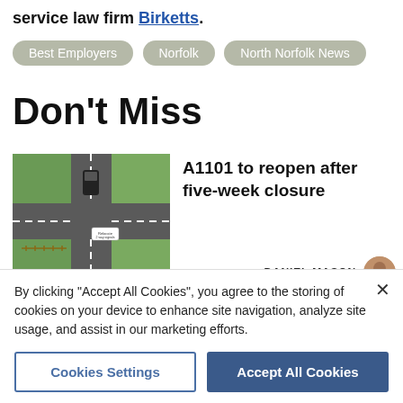service law firm Birketts.
Best Employers
Norfolk
North Norfolk News
Don't Miss
[Figure (photo): Aerial view of a road intersection/junction with dashed white lines and a car visible, also showing grass verges and a sign]
A1101 to reopen after five-week closure
DANIEL MASON
By clicking “Accept All Cookies”, you agree to the storing of cookies on your device to enhance site navigation, analyze site usage, and assist in our marketing efforts.
Cookies Settings
Accept All Cookies